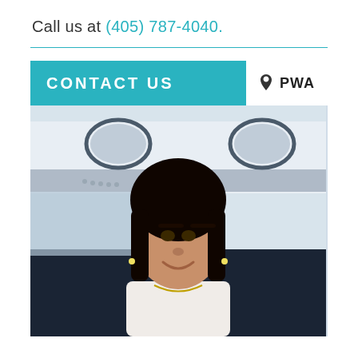Call us at (405) 787-4040.
[Figure (photo): Contact us section with teal header bar reading 'CONTACT US', a white PWA location badge in the top right corner, and a photo of a smiling woman with dark hair in front of an aircraft.]